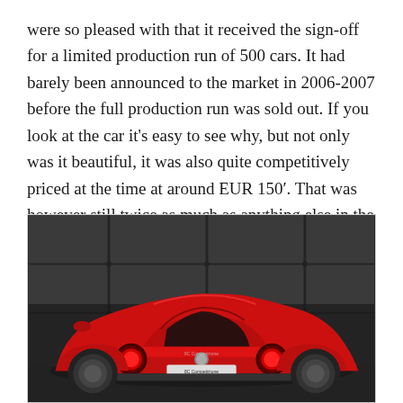were so pleased with that it received the sign-off for a limited production run of 500 cars. It had barely been announced to the market in 2006-2007 before the full production run was sold out. If you look at the car it's easy to see why, but not only was it beautiful, it was also quite competitively priced at the time at around EUR 150′. That was however still twice as much as anything else in the Alfa line-up at the time.
[Figure (photo): Rear three-quarter view of a red Alfa Romeo 8C Competizione sports car photographed against a dark industrial metal wall background. The car shows the rear end with distinctive round taillights and an '8C Competizione' badge.]